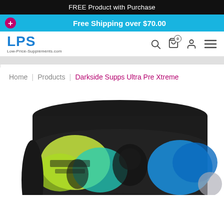FREE Product with Purchase
Free Shipping over $70.00
LPS Low-Price-Supplements.com
Home | Products | Darkside Supps Ultra Pre Xtreme
[Figure (photo): Product container for Darkside Supps Ultra Pre Xtreme, showing top portion of a black-lidded cylindrical supplement tub with dark label featuring colorful neon graphics.]